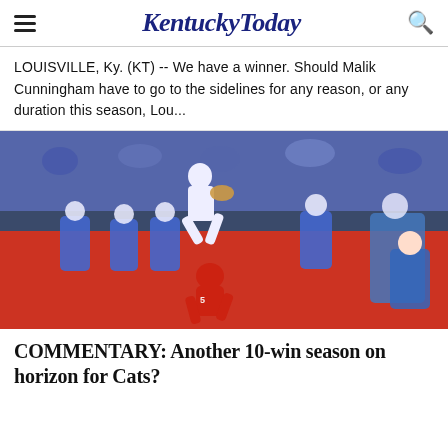KentuckyToday
LOUISVILLE, Ky. (KT) -- We have a winner. Should Malik Cunningham have to go to the sidelines for any reason, or any duration this season, Lou...
[Figure (photo): Football player in white/blue uniform leaping over a defender in red uniform during a game, with players and coaches visible in the background]
COMMENTARY: Another 10-win season on horizon for Cats?